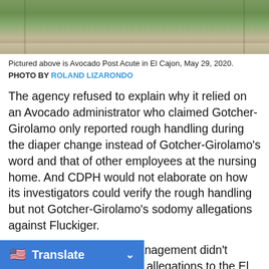[Figure (photo): Outdoor photo strip showing grass, parking lot, and roadway — top portion of Avocado Post Acute facility in El Cajon]
Pictured above is Avocado Post Acute in El Cajon, May 29, 2020. PHOTO BY ROLAND LIZARONDO
The agency refused to explain why it relied on an Avocado administrator who claimed Gotcher-Girolamo only reported rough handling during the diaper change instead of Gotcher-Girolamo's word and that of other employees at the nursing home. And CDPH would not elaborate on how its investigators could verify the rough handling but not Gotcher-Girolamo's sodomy allegations against Fluckiger.
What's more, Avocado management didn't report Gotcher-Girolamo's allegations to the El Cajon Police [days after the alleged assault,